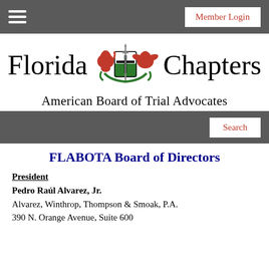Member Login
[Figure (logo): Florida Chapters American Board of Trial Advocates logo with heraldic crest featuring a lion and eagle flanking a shield with a sword]
Search
FLABOTA Board of Directors
President
Pedro Raúl Alvarez, Jr.
Alvarez, Winthrop, Thompson & Smoak, P.A.
390 N. Orange Avenue, Suite 600